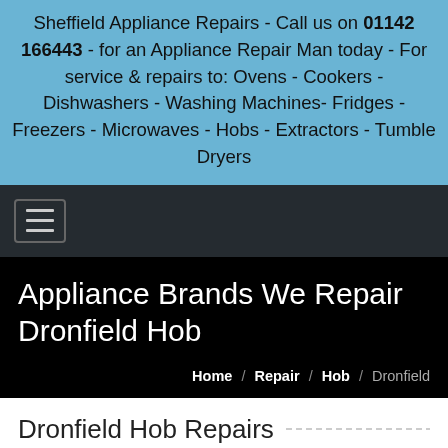Sheffield Appliance Repairs - Call us on 01142 166443 - for an Appliance Repair Man today - For service & repairs to: Ovens - Cookers - Dishwashers - Washing Machines- Fridges - Freezers - Microwaves - Hobs - Extractors - Tumble Dryers
[Figure (other): Navigation hamburger menu icon on dark background]
Appliance Brands We Repair Dronfield Hob
Home / Repair / Hob / Dronfield
Dronfield Hob Repairs
To book your Hob in Dronfield is easy peasy.